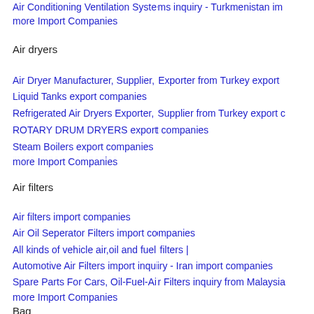Air Conditioning Ventilation Systems inquiry - Turkmenistan import more Import Companies
Air dryers
Air Dryer Manufacturer, Supplier, Exporter from Turkey export
Liquid Tanks export companies
Refrigerated Air Dryers Exporter, Supplier from Turkey export c
ROTARY DRUM DRYERS export companies
Steam Boilers export companies
more Import Companies
Air filters
Air filters import companies
Air Oil Seperator Filters import companies
All kinds of vehicle air,oil and fuel filters |
Automotive Air Filters import inquiry - Iran import companies
Spare Parts For Cars, Oil-Fuel-Air Filters inquiry from Malaysia
more Import Companies
Bag